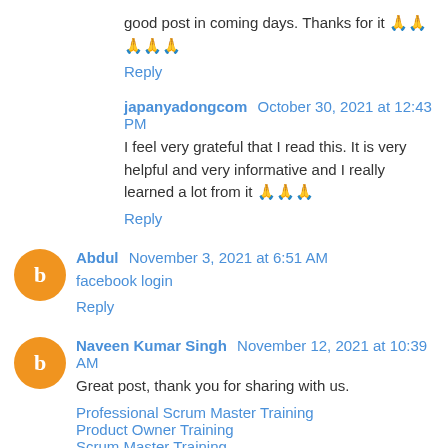good post in coming days. Thanks for it 🙏🙏🙏🙏🙏
Reply
japanyadongcom  October 30, 2021 at 12:43 PM
I feel very grateful that I read this. It is very helpful and very informative and I really learned a lot from it 🙏🙏🙏
Reply
Abdul  November 3, 2021 at 6:51 AM
facebook login
Reply
Naveen Kumar Singh  November 12, 2021 at 10:39 AM
Great post, thank you for sharing with us.
Professional Scrum Master Training
Product Owner Training
Scrum Master Training